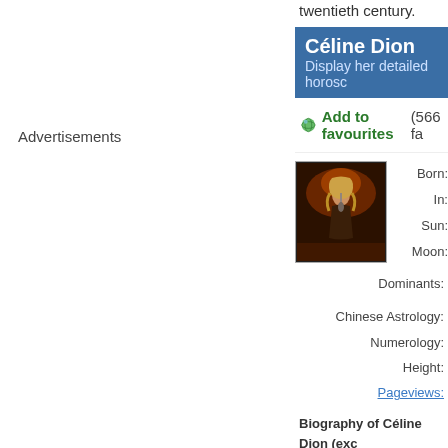twentieth century.
Céline Dion
Display her detailed horoscope
Add to favourites (566 fa…
[Figure (photo): Photo of Céline Dion performing on stage, singing into a microphone with dramatic lighting]
Born:
In:
Sun:
Moon:
Dominants:
Chinese Astrology:
Numerology:
Height:
Pageviews:
Biography of Céline Dion (exc
Céline Marie Claudette
time source: Steinbrec
for her powerful, techn
selling, Canadian rec